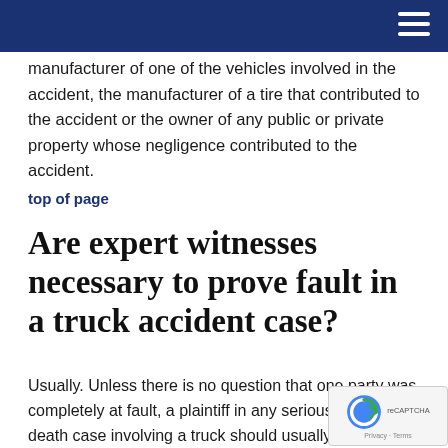manufacturer of one of the vehicles involved in the accident, the manufacturer of a tire that contributed to the accident or the owner of any public or private property whose negligence contributed to the accident.
top of page
Are expert witnesses necessary to prove fault in a truck accident case?
Usually. Unless there is no question that one party was completely at fault, a plaintiff in any serious injury or death case involving a truck should usually retain an expert. Further, that expert should have special expertise in the design, manufacture and operation of trucks and the rules of the trucking industry.